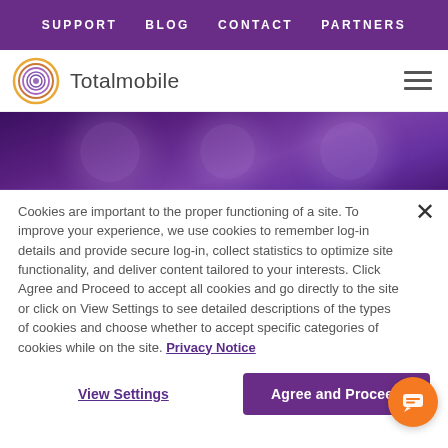SUPPORT  BLOG  CONTACT  PARTNERS
[Figure (logo): Totalmobile logo with circular fingerprint icon in orange/purple and hamburger menu icon]
[Figure (photo): Purple-toned hero image showing an office ceiling with circular light fixtures]
Cookies are important to the proper functioning of a site. To improve your experience, we use cookies to remember log-in details and provide secure log-in, collect statistics to optimize site functionality, and deliver content tailored to your interests. Click Agree and Proceed to accept all cookies and go directly to the site or click on View Settings to see detailed descriptions of the types of cookies and choose whether to accept specific categories of cookies while on the site. Privacy Notice
View Settings  Agree and Proceed